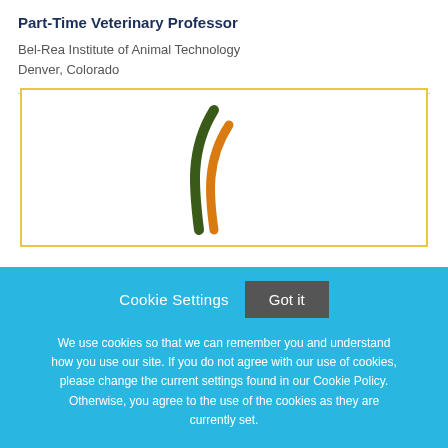Part-Time Veterinary Professor
Bel-Rea Institute of Animal Technology
Denver, Colorado
[Figure (logo): Bel-Rea Institute logo with dark green and orange swooping curved lines on white background inside a yellow-bordered box]
Cookie Settings  Got it

We use cookies so that we can remember you and understand how you use our site. If you do not agree with our use of cookies, please change the current settings found in our Cookie Policy. Otherwise, you agree to the use of the cookies as they are currently set.